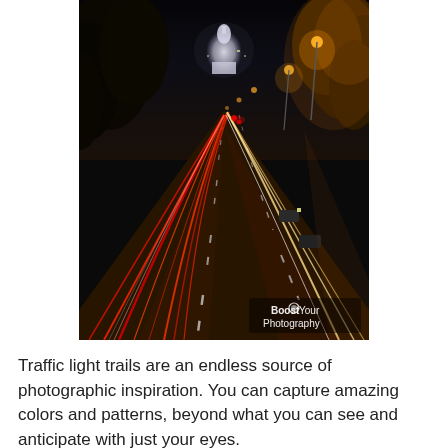[Figure (photo): Long-exposure night photography of a multi-lane road with vivid red and white light trails from vehicle headlights and taillights, stretching toward a government building with a lit dome in the background. Trees line both sides of the road. A watermark in the lower right reads 'Boost Your Photography'.]
Traffic light trails are an endless source of photographic inspiration. You can capture amazing colors and patterns, beyond what you can see and anticipate with just your eyes.